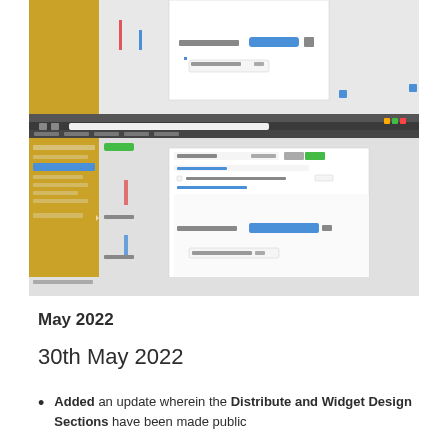[Figure (screenshot): Two overlapping screenshots of a web application interface with a gold/yellow sidebar on the left, a main content area, and a modal dialog open in the center showing form fields and a blue button. The bottom screenshot shows a browser window with bookmarks bar.]
May 2022
30th May 2022
Added an update wherein the Distribute and Widget Design Sections have been made public